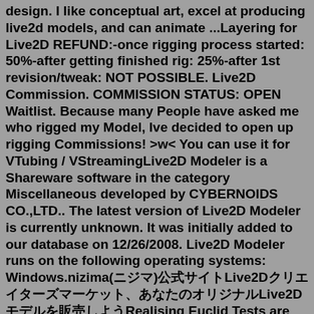design. I like conceptual art, excel at producing live2d models, and can animate ...Layering for Live2D REFUND:-once rigging process started: 50%-after getting finished rig: 25%-after 1st revision/tweak: NOT POSSIBLE. Live2D Commission. COMMISSION STATUS: OPEN Waitlist. Because many People have asked me who rigged my Model, Ive decided to open up rigging Commissions! >w< You can use it for VTubing / VStreamingLive2D Modeler is a Shareware software in the category Miscellaneous developed by CYBERNOIDS CO.,LTD.. The latest version of Live2D Modeler is currently unknown. It was initially added to our database on 12/26/2008. Live2D Modeler runs on the following operating systems: Windows.nizima(ニジマ)公式サイトLive2Dクリエイターズマーケット、あなたのオリジナルLive2Dモデルを販売しようRealising Euclid Tests are triggering the model afflicted, we did them a year ago and now they've found out about them they're super triggered, will it ever ...When Live2D's CubismLookController and CubismMouthController components are present and